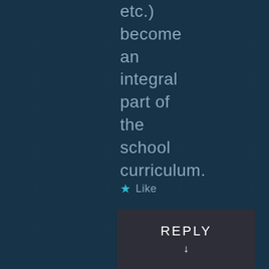etc.) become an integral part of the school curriculum.
★ Like
REPLY ↓
Lander7 December 17,